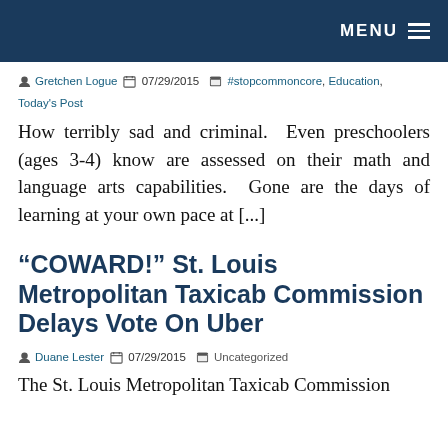MENU
Gretchen Logue  07/29/2015  #stopcommoncore, Education, Today's Post
How terribly sad and criminal.  Even preschoolers (ages 3-4) know are assessed on their math and language arts capabilities.  Gone are the days of learning at your own pace at [...]
“COWARD!” St. Louis Metropolitan Taxicab Commission Delays Vote On Uber
Duane Lester  07/29/2015  Uncategorized
The St. Louis Metropolitan Taxicab Commission